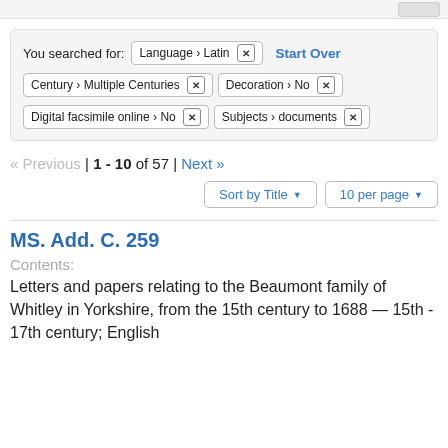You searched for: Language > Latin [x]   Start Over
Century > Multiple Centuries [x]   Decoration > No [x]
Digital facsimile online > No [x]   Subjects > documents [x]
« Previous | 1 - 10 of 57 | Next »
Sort by Title ▾   10 per page ▾
MS. Add. C. 259
Contents:
Letters and papers relating to the Beaumont family of Whitley in Yorkshire, from the 15th century to 1688 — 15th - 17th century; English